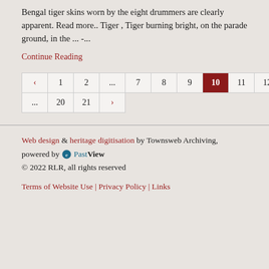Bengal tiger skins worn by the eight drummers are clearly apparent. Read more.. Tiger , Tiger burning bright, on the parade ground, in the ... -...
Continue Reading
| ‹ | 1 | 2 | ... | 7 | 8 | 9 | 10 | 11 | 12 | 13 |
| ... | 20 | 21 | › |  |  |  |  |  |  |  |
Web design & heritage digitisation by Townsweb Archiving, powered by PastView
© 2022 RLR, all rights reserved
Terms of Website Use | Privacy Policy | Links